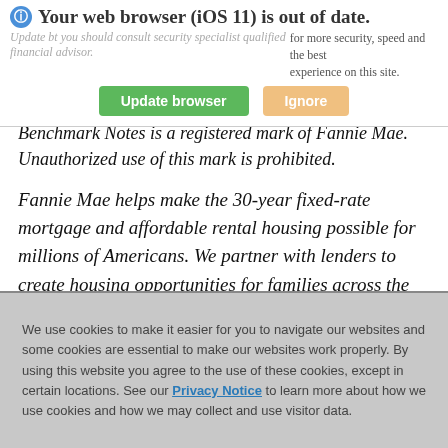[Figure (screenshot): Browser update warning banner with icon, title 'Your web browser (iOS 11) is out of date.', subtitle text, 'Update browser' green button and 'Ignore' tan button]
Benchmark Notes is a registered mark of Fannie Mae. Unauthorized use of this mark is prohibited.
Fannie Mae helps make the 30-year fixed-rate mortgage and affordable rental housing possible for millions of Americans. We partner with lenders to create housing opportunities for families across the country. We are driving positive changes in housing finance to make the
We use cookies to make it easier for you to navigate our websites and some cookies are essential to make our websites work properly. By using this website you agree to the use of these cookies, except in certain locations. See our Privacy Notice to learn more about how we use cookies and how we may collect and use visitor data.